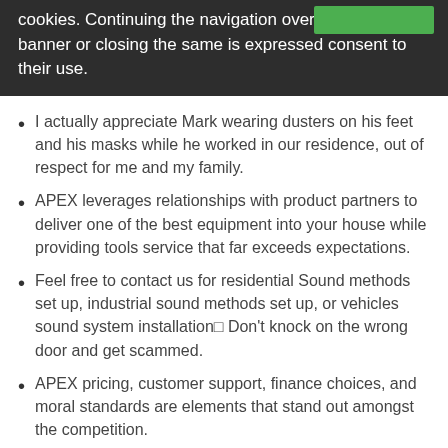cookies. Continuing the navigation over the following banner or closing the same is expressed consent to their use.
I actually appreciate Mark wearing dusters on his feet and his masks while he worked in our residence, out of respect for me and my family.
APEX leverages relationships with product partners to deliver one of the best equipment into your house while providing tools service that far exceeds expectations.
Feel free to contact us for residential Sound methods set up, industrial sound methods set up, or vehicles sound system installation□ Don't knock on the wrong door and get scammed.
APEX pricing, customer support, finance choices, and moral standards are elements that stand out amongst the competition.